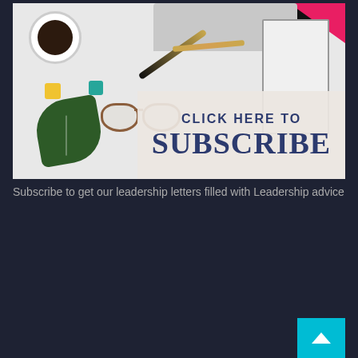[Figure (photo): Office desk flat lay with coffee cup, laptop, pen, pencil, glasses, binder clips, monstera leaf, and notepad on white background, overlaid with a tan/beige box containing text 'CLICK HERE TO SUBSCRIBE' in dark navy blue.]
Subscribe to get our leadership letters filled with Leadership advice